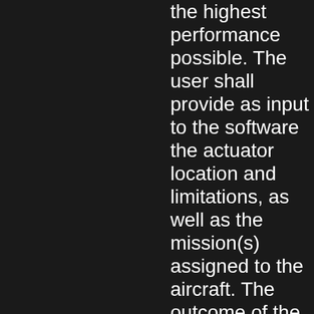the highest performance possible. The user shall provide as input to the software the actuator location and limitations, as well as the mission(s) assigned to the aircraft. The outcome of the software will be the desired wing shape and actuator